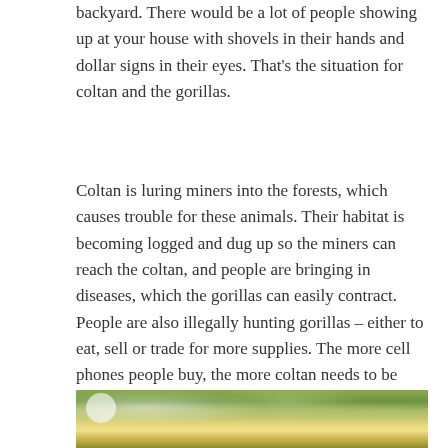backyard. There would be a lot of people showing up at your house with shovels in their hands and dollar signs in their eyes. That’s the situation for coltan and the gorillas.
Coltan is luring miners into the forests, which causes trouble for these animals. Their habitat is becoming logged and dug up so the miners can reach the coltan, and people are bringing in diseases, which the gorillas can easily contract. People are also illegally hunting gorillas – either to eat, sell or trade for more supplies. The more cell phones people buy, the more coltan needs to be mined, which leads to more gorillas becoming homeless. With their numbers dwindling in the wild as it is, let’s work together to save them.
[Figure (photo): Partial photograph showing tree canopy with green and yellow-green foliage, bright light visible through leaves]